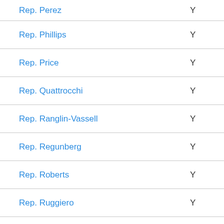Rep. Perez — Y
Rep. Phillips — Y
Rep. Price — Y
Rep. Quattrocchi — Y
Rep. Ranglin-Vassell — Y
Rep. Regunberg — Y
Rep. Roberts — Y
Rep. Ruggiero — Y
Rep. Serpa — Y
Rep. Shanley — Y